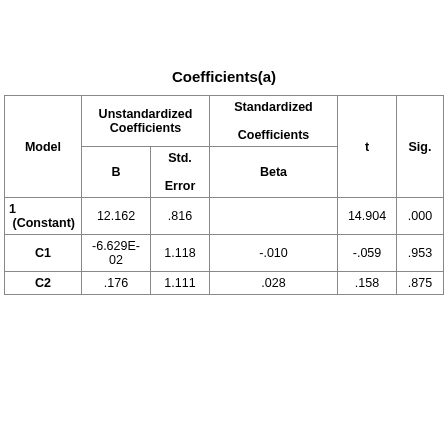Coefficients(a)
| Model | B | Std. Error | Beta | t | Sig. |
| --- | --- | --- | --- | --- | --- |
| 1  (Constant) | 12.162 | .816 |  | 14.904 | .000 |
| C1 | -6.629E-02 | 1.118 | -.010 | -.059 | .953 |
| C2 | .176 | 1.111 | .028 | .158 | .875 |